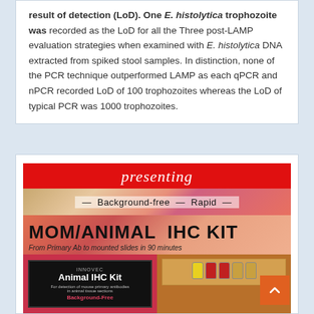result of detection (LoD). One E. histolytica trophozoite was recorded as the LoD for all the Three post-LAMP evaluation strategies when examined with E. histolytica DNA extracted from spiked stool samples. In distinction, none of the PCR technique outperformed LAMP as each qPCR and nPCR recorded LoD of 100 trophozoites whereas the LoD of typical PCR was 1000 trophozoites.
[Figure (illustration): Advertisement banner for MOM/ANIMAL IHC KIT. Red banner at top with 'presenting' in italic script. Middle section with geometric background showing '- Background-free - Rapid -'. Large bold text 'MOM/ANIMAL IHC KIT'. Subtitle 'From Primary Ab to mounted slides in 90 minutes'. Bottom section shows two product images: left shows Innovec Animal IHC Kit box with tissue staining background, right shows kit components with bottles.]